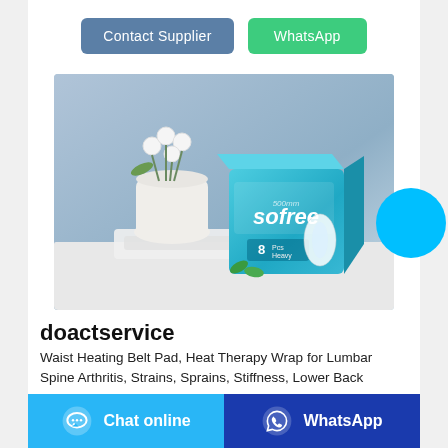[Figure (other): Two buttons: 'Contact Supplier' (blue-grey) and 'WhatsApp' (green)]
[Figure (photo): Product photo of Sofree sanitary pad box (8 pcs, Heavy) in teal/blue packaging, placed on a white surface with a white flower pot in background]
[Figure (other): Cyan circle button (chat/floating action button) at bottom right of product image]
doactservice
Waist Heating Belt Pad, Heat Therapy Wrap for Lumbar Spine Arthritis, Strains, Sprains, Stiffness, Lower Back
[Figure (other): Footer bar with two buttons: 'Chat online' (light blue with chat icon) and 'WhatsApp' (dark blue with WhatsApp icon)]